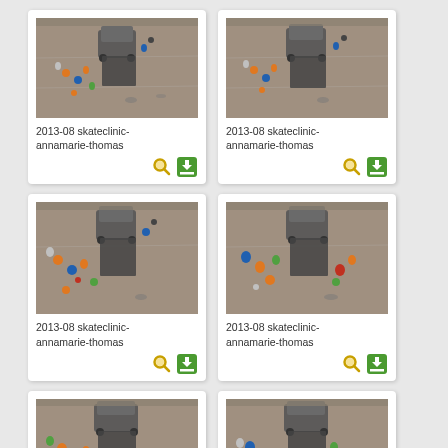[Figure (photo): Aerial view of people and a van on a parking lot/court surface - skate clinic photo 1]
2013-08 skateclinic-annamarie-thomas
[Figure (photo): Aerial view of people and a van on a parking lot/court surface - skate clinic photo 2]
2013-08 skateclinic-annamarie-thomas
[Figure (photo): Aerial view of people and a van on a parking lot/court surface - skate clinic photo 3]
2013-08 skateclinic-annamarie-thomas
[Figure (photo): Aerial view of people and a van on a parking lot/court surface - skate clinic photo 4]
2013-08 skateclinic-annamarie-thomas
[Figure (photo): Aerial view of people and a van on a parking lot/court surface - skate clinic photo 5]
[Figure (photo): Aerial view of people and a van on a parking lot/court surface - skate clinic photo 6]